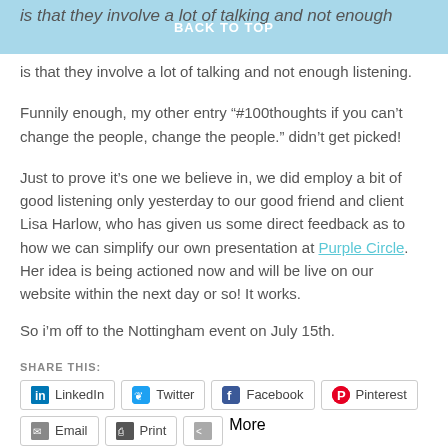BACK TO TOP
is that they involve a lot of talking and not enough listening.
Funnily enough, my other entry “#100thoughts if you can’t change the people, change the people.” didn’t get picked!
Just to prove it’s one we believe in, we did employ a bit of good listening only yesterday to our good friend and client Lisa Harlow, who has given us some direct feedback as to how we can simplify our own presentation at Purple Circle. Her idea is being actioned now and will be live on our website within the next day or so! It works.
So i’m off to the Nottingham event on July 15th.
SHARE THIS:
LinkedIn  Twitter  Facebook  Pinterest  Email  Print  More